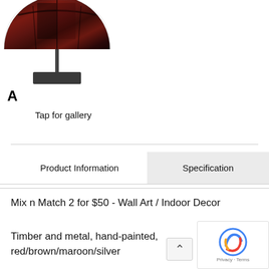[Figure (photo): A decorative bowl/hemisphere made of timber with dark red/brown/maroon painted wood grain pattern, mounted on a metal stand/base, photographed against a white background. The letter 'A' appears in the bottom-left corner of the image.]
Tap for gallery
Product Information
Specification
Mix n Match 2 for $50 - Wall Art / Indoor Decor
Timber and metal, hand-painted, red/brown/maroon/silver